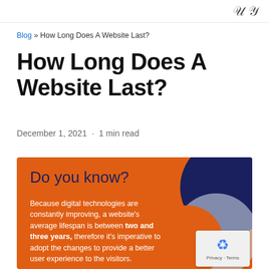ℐ
Blog » How Long Does A Website Last?
How Long Does A Website Last?
December 1, 2021 · 1 min read
[Figure (infographic): Orange infographic box with dark navy circle in top-right, light gray circle, and orange circle overlapping. Text reads: 'Do you know?' in dark navy, followed by white text: 'Because digital technologies are constantly improving, a website's average lifespan is between two and three years, therefore it's imperative to adopt the changes to provide a better user experience to the visitors.']